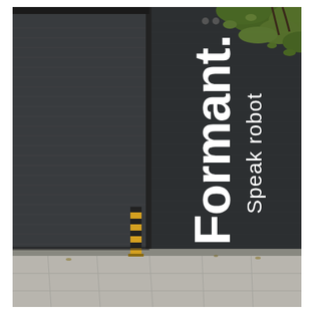[Figure (photo): Exterior photo of a building with a dark charcoal brick wall painted with the text 'Formant.' vertically in large white bold letters and 'Speak robot' horizontally beneath it in white letters. To the left is a corrugated metal roll-up garage door in dark grey. In the foreground is a sidewalk with concrete pavers. A yellow and black striped bollard stands near the garage door. Tree branches with green and yellow leaves overhang from the top right corner. The overall scene is an urban street-level storefront.]